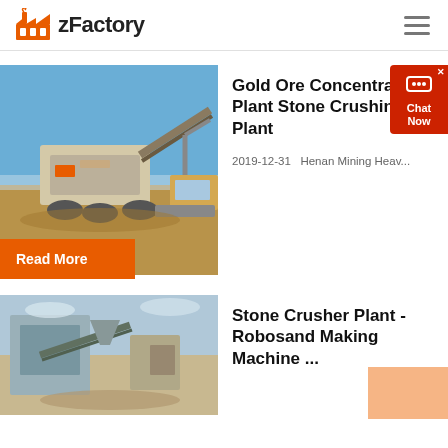zFactory
[Figure (photo): Mining/crushing machinery on a dirt site with blue sky background]
Gold Ore Concentration Plant Stone Crushing Plant
2019-12-31  Henan Mining Heav...
[Figure (photo): Stone crusher plant machinery and conveyor belts]
Stone Crusher Plant - Robosand Making Machine ...